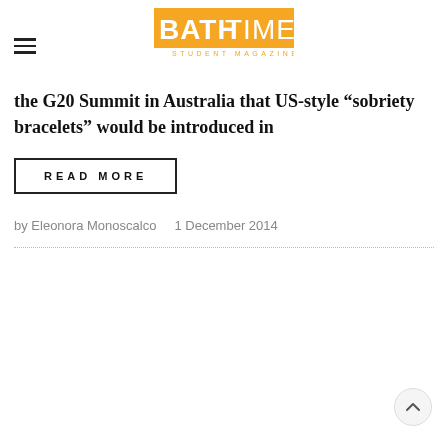BATHTIME STUDENT MAGAZINE
the G20 Summit in Australia that US-style “sobriety bracelets” would be introduced in
READ MORE
by Eleonora Monoscalco   1 December 2014